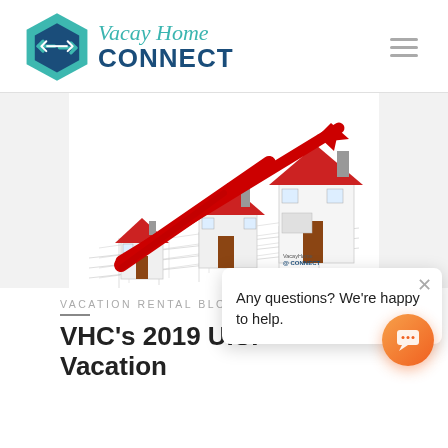[Figure (logo): VacayHome Connect logo with hexagonal icon and text]
[Figure (illustration): Three white houses with red roofs of increasing size with a red upward-trending arrow overlay, on a grid background. VacayHome Connect watermark visible.]
Any questions? We're happy to help.
VACATION RENTAL BLOG
VHC's 2019 U.S. Vacation